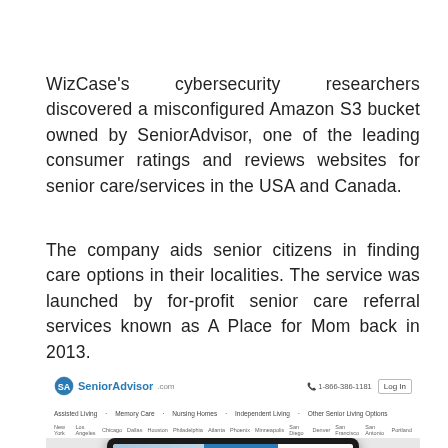WizCase's cybersecurity researchers discovered a misconfigured Amazon S3 bucket owned by SeniorAdvisor, one of the leading consumer ratings and reviews websites for senior care/services in the USA and Canada.
The company aids senior citizens in finding care options in their localities. The service was launched by for-profit senior care referral services known as A Place for Mom back in 2013.
[Figure (screenshot): Screenshot of the SeniorAdvisor.com website displayed on a tablet device, showing the site's navigation bar with categories like Assisted Living, Memory Care, Nursing Homes, Independent Living, Other Senior Living Options, city links, and a listing page for 'The Sunrise at Willow Bend'.]